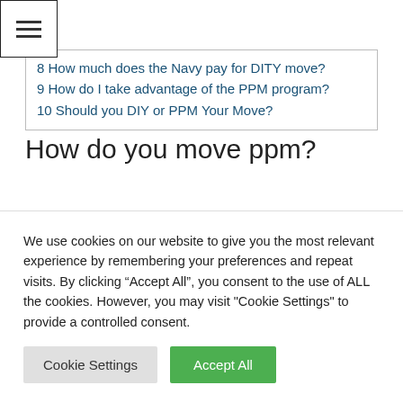[Figure (other): Hamburger menu button icon with three horizontal bars inside a square border]
8 How much does the Navy pay for DITY move?
9 How do I take advantage of the PPM program?
10 Should you DIY or PPM Your Move?
How do you move ppm?
8 Steps to a Smooth Personally Procured Move
1. Apply for the PPM move by scheduling an appointment with your base Personal Property
We use cookies on our website to give you the most relevant experience by remembering your preferences and repeat visits. By clicking “Accept All”, you consent to the use of ALL the cookies. However, you may visit "Cookie Settings" to provide a controlled consent.